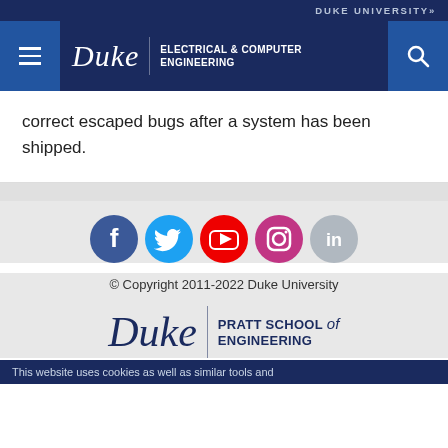DUKE UNIVERSITY»
[Figure (logo): Duke Electrical & Computer Engineering navigation header with hamburger menu, Duke wordmark, department name, and search icon on dark navy background]
correct escaped bugs after a system has been shipped.
[Figure (infographic): Social media icons row: Facebook (blue), Twitter (light blue), YouTube (red), Instagram (pink/purple gradient), LinkedIn (gray)]
© Copyright 2011-2022 Duke University
[Figure (logo): Duke Pratt School of Engineering logo in navy blue]
This website uses cookies as well as similar tools and